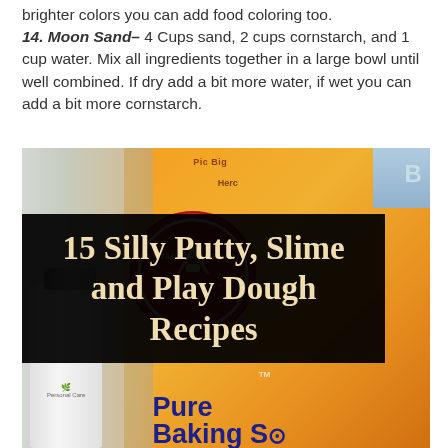brighter colors you can add food coloring too.
14. Moon Sand– 4 Cups sand, 2 cups cornstarch, and 1 cup water. Mix all ingredients together in a large bowl until well combined. If dry add a bit more water, if wet you can add a bit more cornstarch.
[Figure (photo): Photo of baking ingredients including a white bottle (Personal Care) and an Arm & Hammer Pure Baking Soda orange box, with overlaid black banner text reading '15 Silly Putty, Slime and Play Dough Recipes']